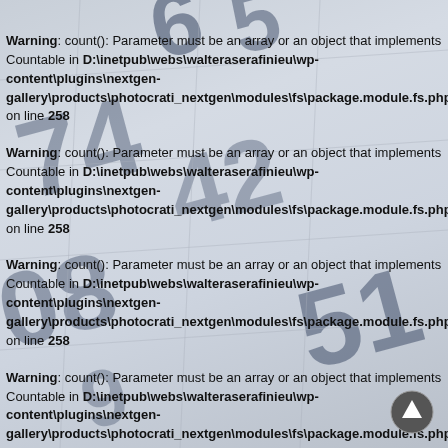[Figure (screenshot): Background calendar photograph with large blurred numbers (6, 5, 74, 42, 08, 51, etc.) in dark blue/navy on white calendar grid, faded behind the warning text overlay.]
Warning: count(): Parameter must be an array or an object that implements Countable in D:\inetpub\webs\walteraserafinieu\wp-content\plugins\nextgen-gallery\products\photocrati_nextgen\modules\fs\package.module.fs.php on line 258
Warning: count(): Parameter must be an array or an object that implements Countable in D:\inetpub\webs\walteraserafinieu\wp-content\plugins\nextgen-gallery\products\photocrati_nextgen\modules\fs\package.module.fs.php on line 258
Warning: count(): Parameter must be an array or an object that implements Countable in D:\inetpub\webs\walteraserafinieu\wp-content\plugins\nextgen-gallery\products\photocrati_nextgen\modules\fs\package.module.fs.php on line 258
Warning: count(): Parameter must be an array or an object that implements Countable in D:\inetpub\webs\walteraserafinieu\wp-content\plugins\nextgen-gallery\products\photocrati_nextgen\modules\fs\package.module.fs.php on line 258
Warning: count(): Parameter must be an array or an object that implements Countable in D:\inetpub\webs\walteraserafinieu\wp-content\plugins\nextgen-gallery\products\photocrati_nextgen\modules\fs\package.module.fs.php on line 258